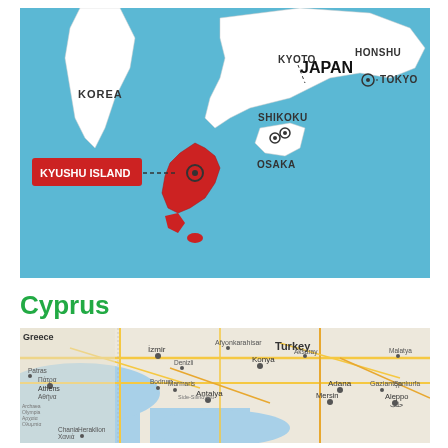[Figure (map): Map of Japan showing Kyushu Island highlighted in red, with labels for Korea, Japan, Honshu, Shikoku, Kyoto, Tokyo, Osaka, and Kyushu Island. Kyushu Island is marked with a dashed line pointer from a red label box.]
Cyprus
[Figure (map): Google Maps style map showing Greece, Turkey, and the region where Cyprus is located, with city labels including Athens, Izmir, Antalya, Konya, Adana, and others.]